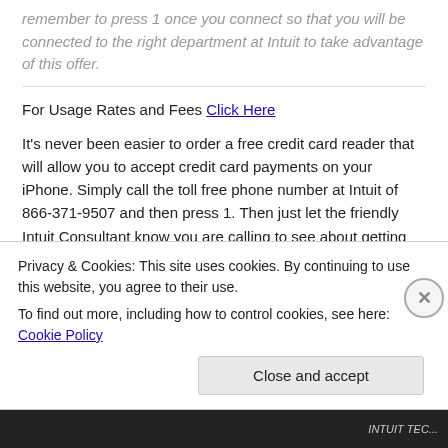remember to press 1 once you connect so that you will be connected to the right department at Intuit to take advantage of this offer.
For Usage Rates and Fees Click Here
It’s never been easier to order a free credit card reader that will allow you to accept credit card payments on your iPhone. Simply call the toll free phone number at Intuit of 866-371-9507 and then press 1. Then just let the friendly Intuit Consultant know you are calling to see about getting your own free iPhone credit card reader that is shipped to you free postage paid. You have 2 choices at what plan you can use. One is free and the other has a nominal monthly fee but a
Privacy & Cookies: This site uses cookies. By continuing to use this website, you agree to their use.
To find out more, including how to control cookies, see here: Cookie Policy
Close and accept